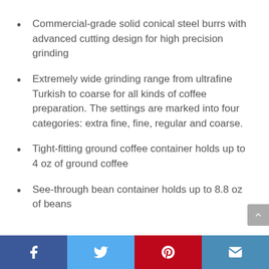Commercial-grade solid conical steel burrs with advanced cutting design for high precision grinding
Extremely wide grinding range from ultrafine Turkish to coarse for all kinds of coffee preparation. The settings are marked into four categories: extra fine, fine, regular and coarse.
Tight-fitting ground coffee container holds up to 4 oz of ground coffee
See-through bean container holds up to 8.8 oz of beans
Facebook | Twitter | Pinterest | Email